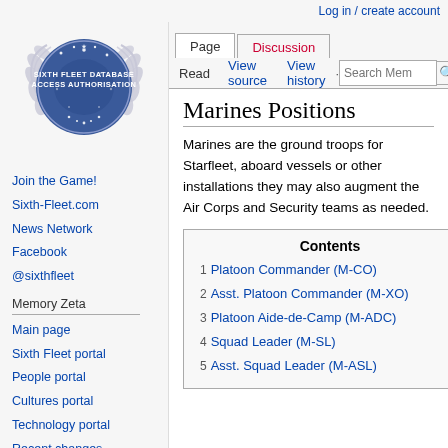Log in / create account
[Figure (logo): Sixth Fleet Database Access Authorisation emblem — circular badge with laurel wreath and stars on a blue/silver background]
Join the Game!
Sixth-Fleet.com
News Network
Facebook
@sixthfleet
Memory Zeta
Main page
Sixth Fleet portal
People portal
Cultures portal
Technology portal
Recent changes
Random page
Marines Positions
Marines are the ground troops for Starfleet, aboard vessels or other installations they may also augment the Air Corps and Security teams as needed.
| Contents |
| --- |
| 1  Platoon Commander (M-CO) |
| 2  Asst. Platoon Commander (M-XO) |
| 3  Platoon Aide-de-Camp (M-ADC) |
| 4  Squad Leader (M-SL) |
| 5  Asst. Squad Leader (M-ASL) |